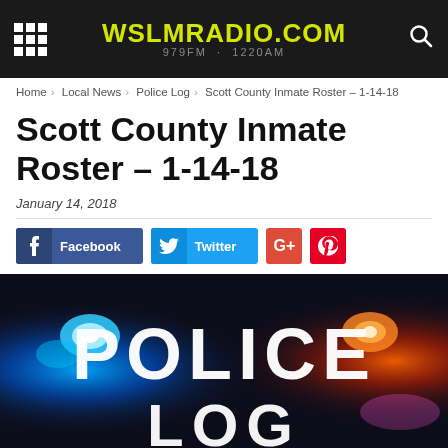WSLMRADIO.COM 979FM - 1220AM
Home > Local News > Police Log > Scott County Inmate Roster – 1-14-18
Scott County Inmate Roster – 1-14-18
January 14, 2018
[Figure (screenshot): Social share buttons: Facebook, Twitter, Google+, Pinterest]
[Figure (photo): Police log image with blue and red police lights and large white text reading POLICE LOG]